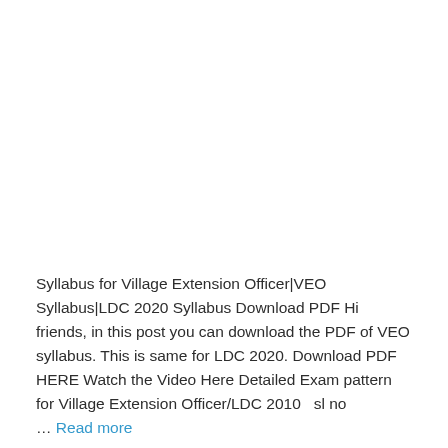Syllabus for Village Extension Officer|VEO Syllabus|LDC 2020 Syllabus Download PDF Hi friends, in this post you can download the PDF of VEO syllabus. This is same for LDC 2020. Download PDF HERE Watch the Video Here Detailed Exam pattern for Village Extension Officer/LDC 2010   sl no … Read more